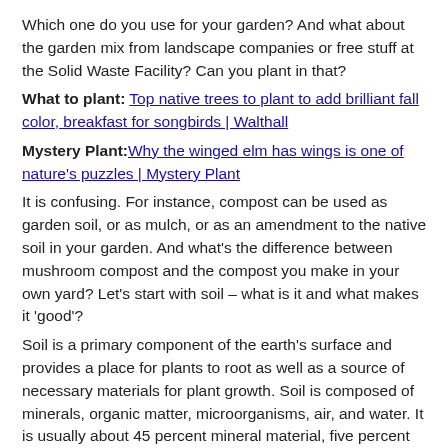Which one do you use for your garden? And what about the garden mix from landscape companies or free stuff at the Solid Waste Facility? Can you plant in that?
What to plant: Top native trees to plant to add brilliant fall color, breakfast for songbirds | Walthall
Mystery Plant: Why the winged elm has wings is one of nature's puzzles | Mystery Plant
It is confusing. For instance, compost can be used as garden soil, or as mulch, or as an amendment to the native soil in your garden. And what's the difference between mushroom compost and the compost you make in your own yard? Let's start with soil – what is it and what makes it 'good'?
Soil is a primary component of the earth's surface and provides a place for plants to root as well as a source of necessary materials for plant growth. Soil is composed of minerals, organic matter, microorganisms, air, and water. It is usually about 45 percent mineral material, five percent organic matter (or less in Florida soils), and